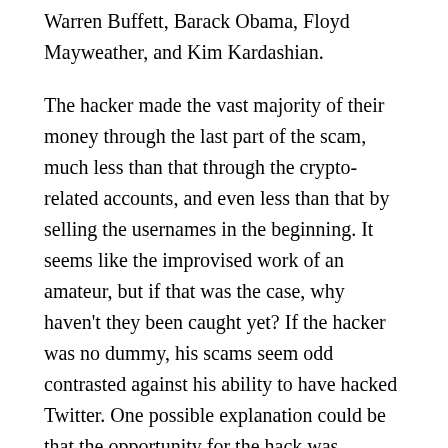Warren Buffett, Barack Obama, Floyd Mayweather, and Kim Kardashian.
The hacker made the vast majority of their money through the last part of the scam, much less than that through the crypto-related accounts, and even less than that by selling the usernames in the beginning. It seems like the improvised work of an amateur, but if that was the case, why haven't they been caught yet? If the hacker was no dummy, his scams seem odd contrasted against his ability to have hacked Twitter. One possible explanation could be that the opportunity for the hack was spontaneous and the hacker had little or no time to plan the